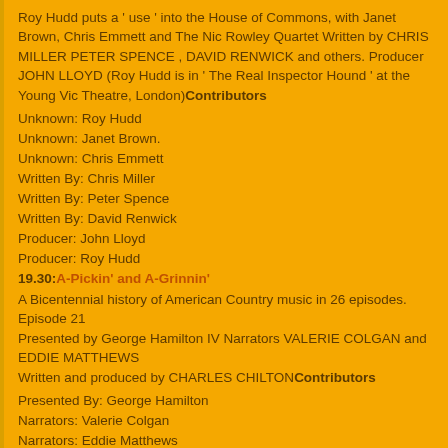Roy Hudd puts a ' use ' into the House of Commons, with Janet Brown, Chris Emmett and The Nic Rowley Quartet Written by CHRIS MILLER PETER SPENCE , DAVID RENWICK and others. Producer JOHN LLOYD (Roy Hudd is in ' The Real Inspector Hound ' at the Young Vic Theatre, London)Contributors
Unknown: Roy Hudd
Unknown: Janet Brown.
Unknown: Chris Emmett
Written By: Chris Miller
Written By: Peter Spence
Written By: David Renwick
Producer: John Lloyd
Producer: Roy Hudd
19.30: A-Pickin' and A-Grinnin'
A Bicentennial history of American Country music in 26 episodes. Episode 21
Presented by George Hamilton IV Narrators VALERIE COLGAN and EDDIE MATTHEWS
Written and produced by CHARLES CHILTONContributors
Presented By: George Hamilton
Narrators: Valerie Colgan
Narrators: Eddie Matthews
Produced By: Charles Chilton
20.02: Listen to the Band
with Charlie Chester featuring THE CORY BAND conductor BRAM GAY Producer JOHN PADDY Contributor